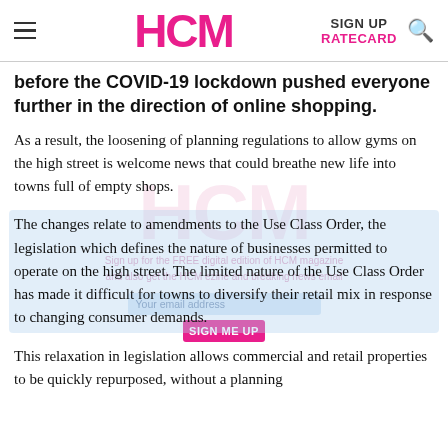HCM | SIGN UP | RATECARD
before the COVID-19 lockdown pushed everyone further in the direction of online shopping.
As a result, the loosening of planning regulations to allow gyms on the high street is welcome news that could breathe new life into towns full of empty shops.
The changes relate to amendments to the Use Class Order, the legislation which defines the nature of businesses permitted to operate on the high street. The limited nature of the Use Class Order has made it difficult for towns to diversify their retail mix in response to changing consumer demands.
This relaxation in legislation allows commercial and retail properties to be quickly repurposed, without a planning